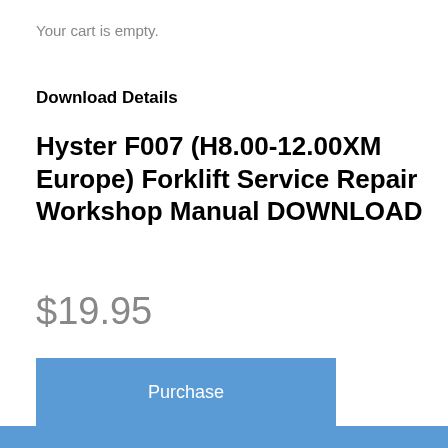Your cart is empty.
Download Details
Hyster F007 (H8.00-12.00XM Europe) Forklift Service Repair Workshop Manual DOWNLOAD
$19.95
Purchase
Download Category: Hyster